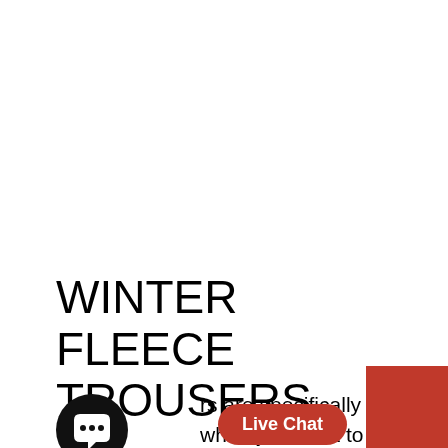WINTER FLEECE TROUSERS
fl...rs are specifically used when you want to spend a very lazy day
[Figure (illustration): Black circular chat bubble icon with three dots]
[Figure (other): Red 'Live Chat' button overlay]
[Figure (other): Red square in bottom-right corner]